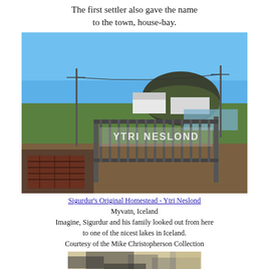The first settler also gave the name to the town, house-bay.
[Figure (photo): A metal gate with 'YTRI NESLOND' written on it, set in a green Icelandic landscape with a hill, white buildings, and a lake visible in the background under a blue sky.]
Sigurdur's Original Homestead - Ytri Neslond
Myvatn, Iceland
Imagine, Sigurdur and his family looked out from here to one of the nicest lakes in Iceland.
Courtesy of the Mike Christopherson Collection
[Figure (photo): A partially visible black and white photograph at the bottom of the page.]